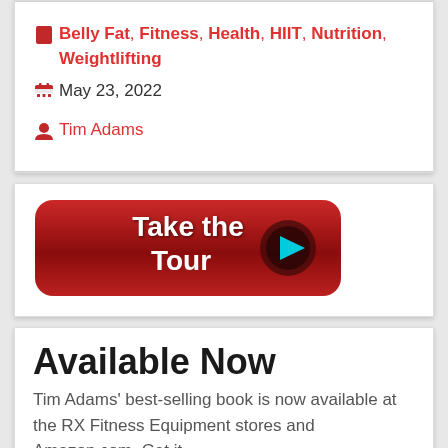Belly Fat, Fitness, Health, HIIT, Nutrition, Weightlifting
May 23, 2022
Tim Adams
[Figure (illustration): Red rounded button with white bold text 'Take the Tour' and a cyan play icon on dark circle]
Available Now
Tim Adams' best-selling book is now available at the RX Fitness Equipment stores and Amazon.com. Get it